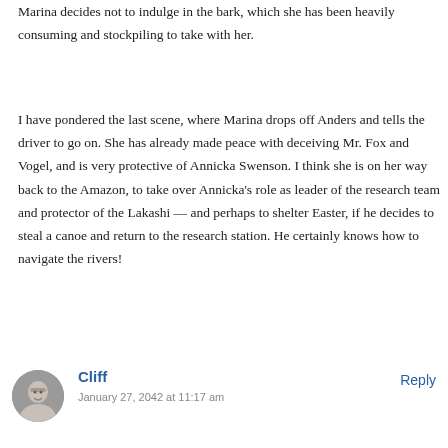Marina decides not to indulge in the bark, which she has been heavily consuming and stockpiling to take with her.
I have pondered the last scene, where Marina drops off Anders and tells the driver to go on. She has already made peace with deceiving Mr. Fox and Vogel, and is very protective of Annicka Swenson. I think she is on her way back to the Amazon, to take over Annicka's role as leader of the research team and protector of the Lakashi — and perhaps to shelter Easter, if he decides to steal a canoe and return to the research station. He certainly knows how to navigate the rivers!
Cliff
January 27, 2042 at 11:17 am
Reply